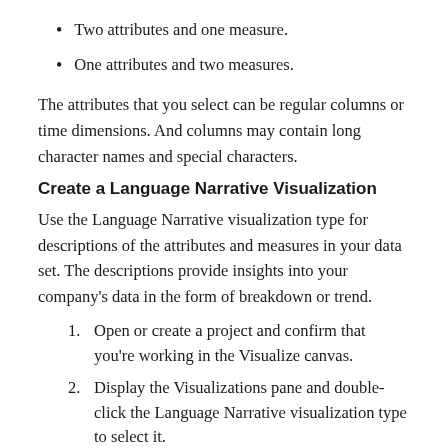Two attributes and one measure.
One attributes and two measures.
The attributes that you select can be regular columns or time dimensions. And columns may contain long character names and special characters.
Create a Language Narrative Visualization
Use the Language Narrative visualization type for descriptions of the attributes and measures in your data set. The descriptions provide insights into your company's data in the form of breakdown or trend.
Open or create a project and confirm that you're working in the Visualize canvas.
Display the Visualizations pane and double-click the Language Narrative visualization type to select it.